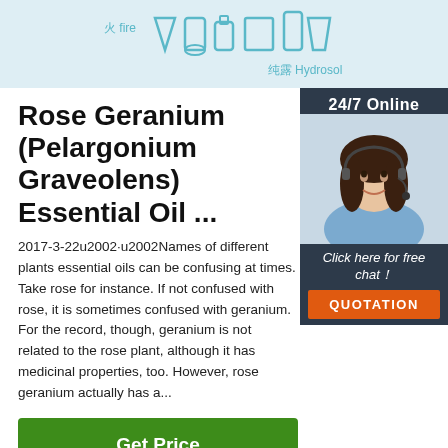[Figure (illustration): Top banner showing distillation/chemistry icons with Chinese and English labels: 火 fire and 纯露 Hydrosol, teal colored icons on light blue background]
Rose Geranium (Pelargonium Graveolens) Essential Oil ...
2017-3-22u2002·u2002Names of different plants essential oils can be confusing at times. Take rose for instance. If not confused with rose, it is sometimes confused with geranium. For the record, though, geranium is not related to the rose plant, although it has medicinal properties, too. However, rose geranium actually has a...
[Figure (photo): 24/7 Online chat widget showing a woman with headset smiling, dark navy background, with Click here for free chat! text and orange QUOTATION button]
Get Price
[Figure (logo): TOP logo with orange dots forming an arc above the word TOP in dark teal color]